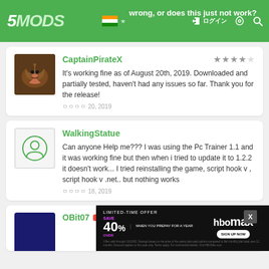5MODS — wrong, or does this just not work?
CaptainPirateX — It's working fine as of August 20th, 2019. Downloaded and partially tested, haven't had any issues so far. Thank you for the release! — ០០០០ 20, 2019
WalkingStatue — Can anyone Help me??? I was using the Pc Trainer 1.1 and it was working fine but then when i tried to update it to 1.2.2 it doesn't work... I tried reinstalling the game, script hook v , script hook v .net.. but nothing works — ០០០០ 18, 2019
OBit07 — [PROMO]
[Figure (screenshot): HBO Max advertisement: LIMITED-TIME OFFER SAVE OVER 40% WHEN YOU PREPAY FOR A YEAR — SIGN UP NOW]